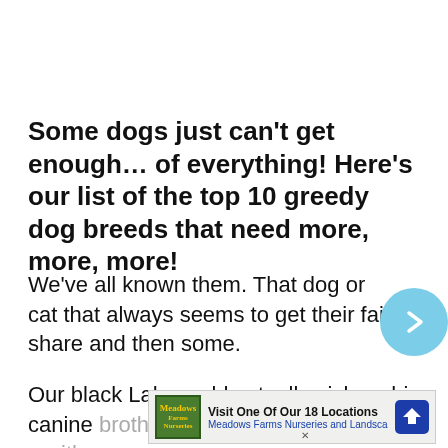Some dogs just can't get enough… of everything! Here's our list of the top 10 greedy dog breeds that need more, more, more!
We've all known them. That dog or cat that always seems to get their fair share and then some.
Our black Lab would actually pick up his canine brother's bowl… with it before…
[Figure (other): Advertisement banner for Meadows Farms Nurseries and Landscape: Visit One Of Our 18 Locations]